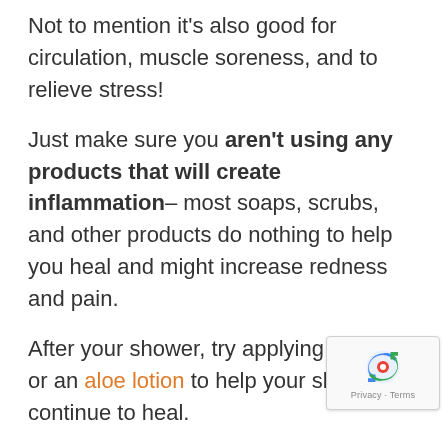Not to mention it's also good for circulation, muscle soreness, and to relieve stress!
Just make sure you aren't using any products that will create inflammation– most soaps, scrubs, and other products do nothing to help you heal and might increase redness and pain.
After your shower, try applying aloe gel or an aloe lotion to help your skin continue to heal.
This remedy might be especially helpful